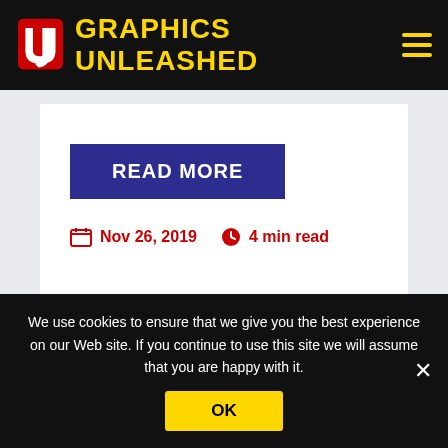GRAPHICS UNLEASHED
READ MORE
Nov 26, 2019  4 min read
[Figure (illustration): Illustrated character with brown hair viewed from behind/above, on a light lavender background]
We use cookies to ensure that we give you the best experience on our Web site. If you continue to use this site we will assume that you are happy with it.
OK